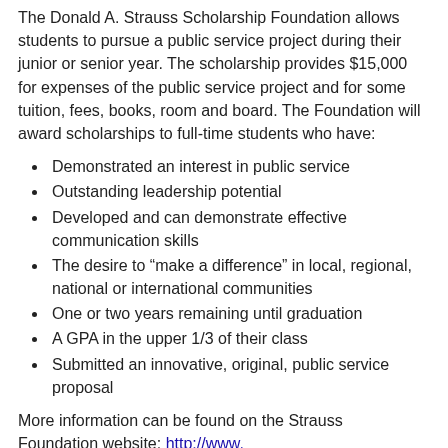The Donald A. Strauss Scholarship Foundation allows students to pursue a public service project during their junior or senior year. The scholarship provides $15,000 for expenses of the public service project and for some tuition, fees, books, room and board. The Foundation will award scholarships to full-time students who have:
Demonstrated an interest in public service
Outstanding leadership potential
Developed and can demonstrate effective communication skills
The desire to "make a difference" in local, regional, national or international communities
One or two years remaining until graduation
A GPA in the upper 1/3 of their class
Submitted an innovative, original, public service proposal
More information can be found on the Strauss Foundation website: http://www.